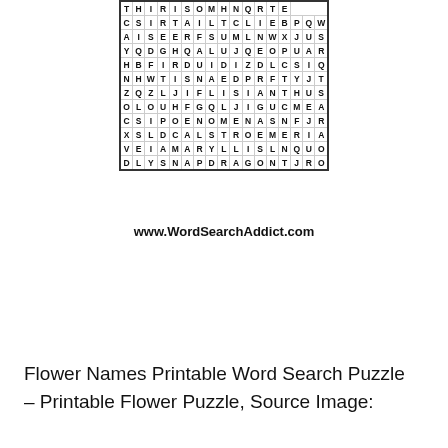[Figure (other): Flower Names word search puzzle grid with letters arranged in rows and columns, some letters circled indicating found words]
www.WordSearchAddict.com
Flower Names Printable Word Search Puzzle – Printable Flower Puzzle, Source Image: